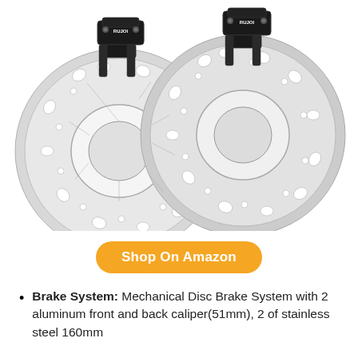[Figure (photo): Two RUJOI mechanical disc brake sets, each consisting of a black aluminum caliper and a stainless steel 160mm wavy rotor, shown side by side on a white background.]
Shop On Amazon
Brake System: Mechanical Disc Brake System with 2 aluminum front and back caliper(51mm), 2 of stainless steel 160mm